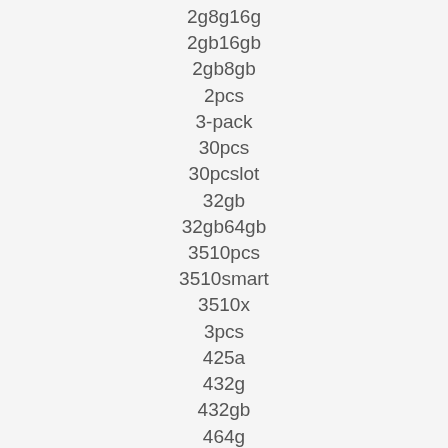2g8g16g
2gb16gb
2gb8gb
2pcs
3-pack
30pcs
30pcslot
32gb
32gb64gb
3510pcs
3510smart
3510x
3pcs
425a
432g
432gb
464g
4g128g
4g32g
4gb32gb
4gb64gb